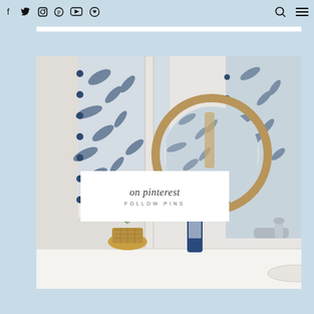Social media icons: Facebook, Twitter, Instagram, Pinterest, YouTube, Bloglovin; Search icon; Menu icon
[Figure (photo): Bathroom interior with blue and white leaf-pattern roman shade, round rattan mirror, small potted plant in wicker basket, blue reed diffuser bottle, chrome faucet on white countertop]
on pinterest
FOLLOW PINS